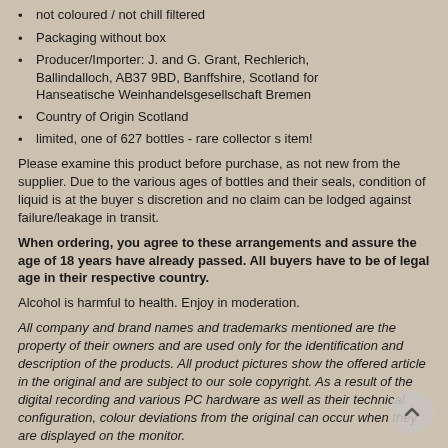not coloured / not chill filtered
Packaging without box
Producer/Importer: J. and G. Grant, Rechlerich, Ballindalloch, AB37 9BD, Banffshire, Scotland for Hanseatische Weinhandelsgesellschaft Bremen
Country of Origin Scotland
limited, one of 627 bottles - rare collector s item!
Please examine this product before purchase, as not new from the supplier. Due to the various ages of bottles and their seals, condition of liquid is at the buyer s discretion and no claim can be lodged against failure/leakage in transit.
When ordering, you agree to these arrangements and assure the age of 18 years have already passed. All buyers have to be of legal age in their respective country.
Alcohol is harmful to health. Enjoy in moderation.
All company and brand names and trademarks mentioned are the property of their owners and are used only for the identification and description of the products. All product pictures show the offered article in the original and are subject to our sole copyright. As a result of the digital recording and various PC hardware as well as their technical configuration, colour deviations from the original can occur when they are displayed on the monitor.